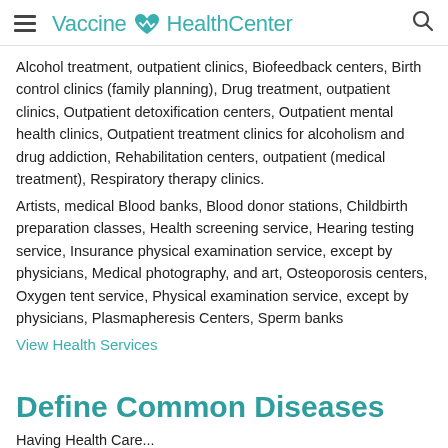Vaccine HealthCenter
Alcohol treatment, outpatient clinics, Biofeedback centers, Birth control clinics (family planning), Drug treatment, outpatient clinics, Outpatient detoxification centers, Outpatient mental health clinics, Outpatient treatment clinics for alcoholism and drug addiction, Rehabilitation centers, outpatient (medical treatment), Respiratory therapy clinics.
Artists, medical Blood banks, Blood donor stations, Childbirth preparation classes, Health screening service, Hearing testing service, Insurance physical examination service, except by physicians, Medical photography, and art, Osteoporosis centers, Oxygen tent service, Physical examination service, except by physicians, Plasmapheresis Centers, Sperm banks
View Health Services
Define Common Diseases
Having Health Care...